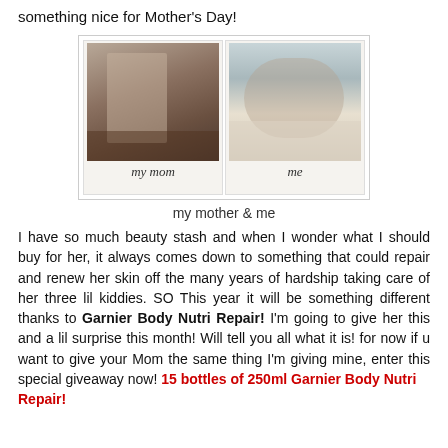something nice for Mother's Day!
[Figure (photo): Two polaroid-style photos side by side: left shows a woman (my mom) standing indoors, right shows a newborn baby (me) sleeping.]
my mother & me
I have so much beauty stash and when I wonder what I should buy for her, it always comes down to something that could repair and renew her skin off the many years of hardship taking care of her three lil kiddies. SO This year it will be something different thanks to Garnier Body Nutri Repair! I'm going to give her this and a lil surprise this month! Will tell you all what it is! for now if u want to give your Mom the same thing I'm giving mine, enter this special giveaway now! 15 bottles of 250ml Garnier Body Nutri Repair!